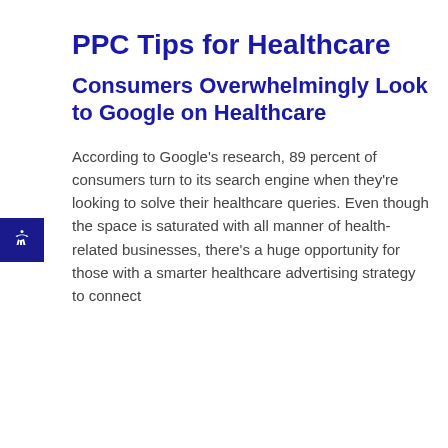PPC Tips for Healthcare
Consumers Overwhelmingly Look to Google on Healthcare
According to Google’s research, 89 percent of consumers turn to its search engine when they’re looking to solve their healthcare queries. Even though the space is saturated with all manner of health-related businesses, there’s a huge opportunity for those with a smarter healthcare advertising strategy to connect